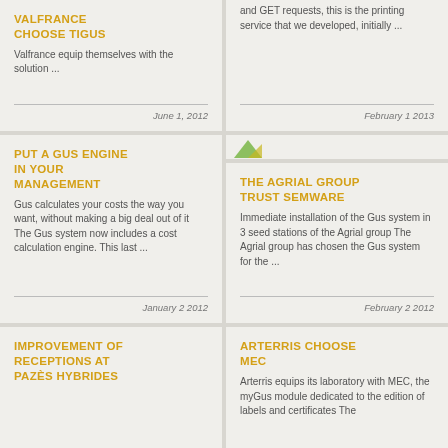VALFRANCE CHOOSE TIGUS
Valfrance equip themselves with the solution ...
June 1, 2012
PUT A GUS ENGINE IN YOUR MANAGEMENT
Gus calculates your costs the way you want, without making a big deal out of it The Gus system now includes a cost calculation engine. This last ...
January 2 2012
IMPROVEMENT OF RECEPTIONS AT PAZÈS HYBRIDES
and GET requests, this is the printing service that we developed, initially ...
February 1 2013
[Figure (logo): Small green and yellow leaf/tag icon]
THE AGRIAL GROUP TRUST SEMWARE
Immediate installation of the Gus system in 3 seed stations of the Agrial group The Agrial group has chosen the Gus system for the ...
February 2 2012
ARTERRIS CHOOSE MEC
Arterris equips its laboratory with MEC, the myGus module dedicated to the edition of labels and certificates The ...